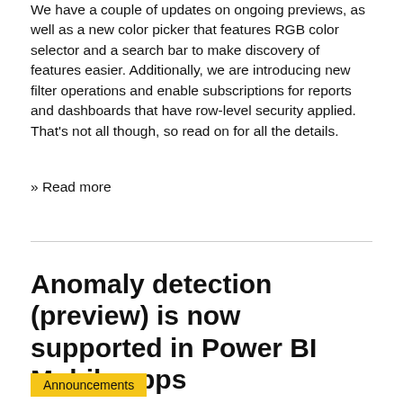We have a couple of updates on ongoing previews, as well as a new color picker that features RGB color selector and a search bar to make discovery of features easier. Additionally, we are introducing new filter operations and enable subscriptions for reports and dashboards that have row-level security applied. That's not all though, so read on for all the details.
» Read more
Anomaly detection (preview) is now supported in Power BI Mobile apps
Announcements